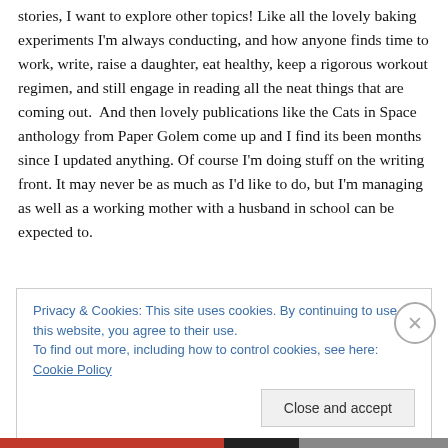stories, I want to explore other topics! Like all the lovely baking experiments I'm always conducting, and how anyone finds time to work, write, raise a daughter, eat healthy, keep a rigorous workout regimen, and still engage in reading all the neat things that are coming out.  And then lovely publications like the Cats in Space anthology from Paper Golem come up and I find its been months since I updated anything. Of course I'm doing stuff on the writing front. It may never be as much as I'd like to do, but I'm managing as well as a working mother with a husband in school can be expected to.
Privacy & Cookies: This site uses cookies. By continuing to use this website, you agree to their use.
To find out more, including how to control cookies, see here: Cookie Policy